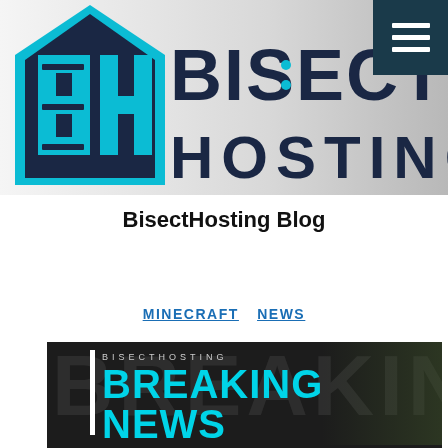[Figure (logo): BisectHosting logo with cyan and dark navy blue BH icon and BISECT HOSTING wordmark on grey gradient background, with teal hamburger menu button in top right]
BisectHosting Blog
MINECRAFT
NEWS
[Figure (photo): BisectHosting Breaking News promotional banner image with large cyan bold text reading BREAKING NEWS on dark background with faint BH watermark]